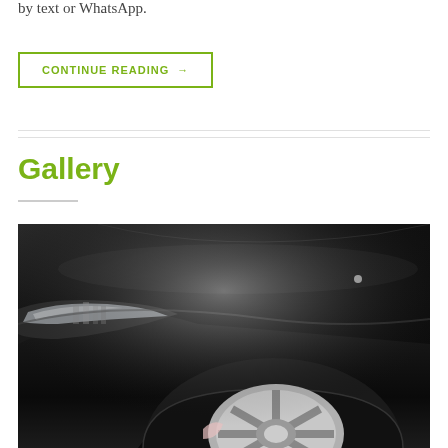by text or WhatsApp.
CONTINUE READING →
Gallery
[Figure (photo): Close-up photo of a black car showing the hood, headlight, and front wheel arch area with a tire and alloy wheel. A date badge showing '06 Aug' overlays the top-left corner of the image.]